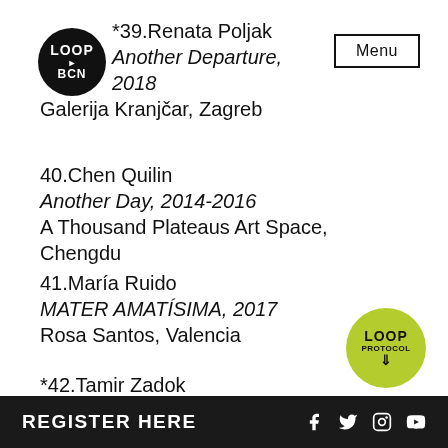[Figure (logo): LOOP BCN circular black logo with play button icon]
*39. Renata Poljak
Another Departure, 2018
Galerija Kranjčar, Zagreb
40. Chen Quilin
Another Day, 2014-2016
A Thousand Plateaus Art Space, Chengdu
41. María Ruido
MATER AMATÍSIMA, 2017
Rosa Santos, Valencia
*42. Tamir Zadok
Art Undercover, 2017
[Figure (logo): LOOP PROTOCOL circular green badge with download arrow]
REGISTER HERE  f  twitter  instagram  youtube